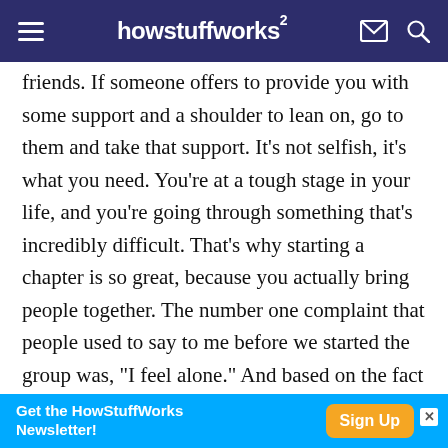howstuffworks
friends. If someone offers to provide you with some support and a shoulder to lean on, go to them and take that support. It's not selfish, it's what you need. You're at a tough stage in your life, and you're going through something that's incredibly difficult. That's why starting a chapter is so great, because you actually bring people together. The number one complaint that people used to say to me before we started the group was, "I feel alone." And based on the fact that between 35 and 48 percent of college students have lost a loved one in the last two years
Get the HowStuffWorks Newsletter! Sign Up